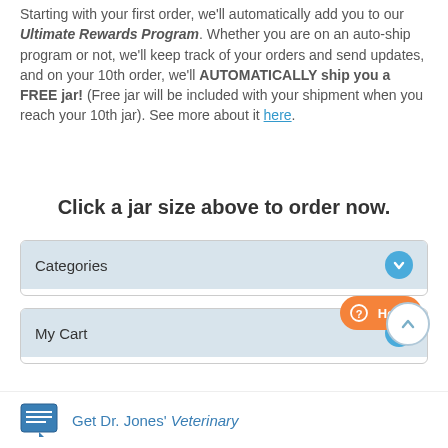Starting with your first order, we'll automatically add you to our Ultimate Rewards Program. Whether you are on an auto-ship program or not, we'll keep track of your orders and send updates, and on your 10th order, we'll AUTOMATICALLY ship you a FREE jar! (Free jar will be included with your shipment when you reach your 10th jar). See more about it here.
Click a jar size above to order now.
Categories
My Cart
[Figure (screenshot): Help button (orange pill) and scroll-up arrow button]
Get Dr. Jones' Veterinary